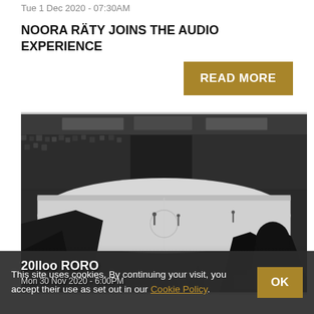Tue 1 Dec 2020 - 07:30AM
NOORA RÄTY JOINS THE AUDIO EXPERIENCE
READ MORE
[Figure (photo): Black and white photo of a hockey arena filled with spectators, viewed from behind the crowd, showing the ice rink with players on it]
20lloo RORO
Mon 30 Nov 2020 - 6:00PM
This site uses cookies. By continuing your visit, you accept their use as set out in our Cookie Policy.